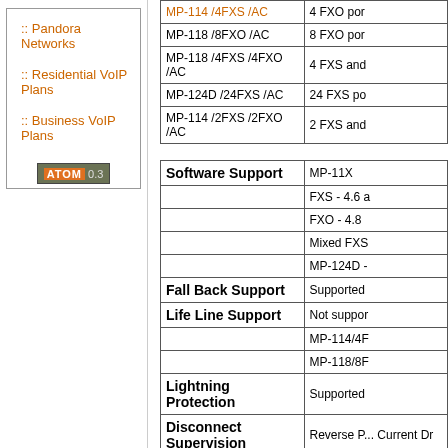:: Pandora Networks
:: Residential VoIP Plans
:: Business VoIP Plans
[Figure (logo): ATOM 0.3 badge/button in olive/orange colors]
| Model | Description |
| --- | --- |
| MP-114 /4FXS /AC | 4 FXO por... |
| MP-118 /8FXO /AC | 8 FXO por... |
| MP-118 /4FXS /4FXO /AC | 4 FXS and... |
| MP-124D /24FXS /AC | 24 FXS por... |
| MP-114 /2FXS /2FXO /AC | 2 FXS and... |
| Feature | Value |
| --- | --- |
| Software Support | MP-11X |
|  | FXS - 4.6 ... |
|  | FXO - 4.8 ... |
|  | Mixed FXS... |
|  | MP-124D -... |
| Fall Back Support | Supported... |
| Life Line Support | Not suppor... |
|  | MP-114/4F... |
|  | MP-118/8F... |
| Lightning Protection | Supported... |
| Disconnect Supervision | Reverse P... Current Dr... |
| FXO Homologation Coverage | Improved ... NZ) |